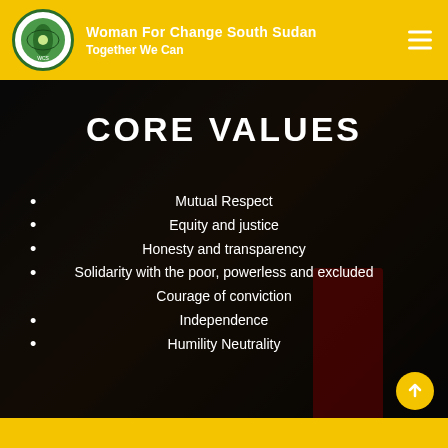Woman For Change South Sudan — Together We Can
CORE VALUES
Mutual Respect
Equity and justice
Honesty and transparency
Solidarity with the poor, powerless and excluded
Courage of conviction
Independence
Humility Neutrality